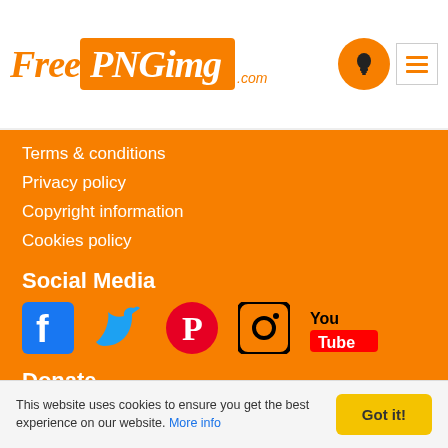[Figure (logo): FreePNGimg.com logo with orange text and orange background box]
Terms & conditions
Privacy policy
Copyright information
Cookies policy
Social Media
[Figure (illustration): Social media icons: Facebook, Twitter, Pinterest, Instagram, YouTube]
Donate
[Figure (logo): PayPal logo and Buy me a coffee button]
Check Out
[Figure (logo): Purple aperture/lens icon]
This website uses cookies to ensure you get the best experience on our website. More info